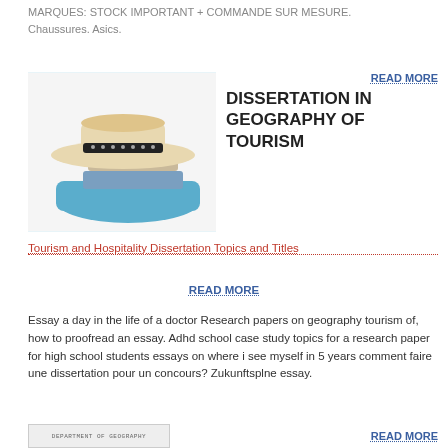MARQUES: STOCK IMPORTANT + COMMANDE SUR MESURE. Chaussures. Asics.
[Figure (photo): Photo of a straw hat with black band placed on top of stacked books and a blue cloth/bag]
READ MORE
DISSERTATION IN GEOGRAPHY OF TOURISM
Tourism and Hospitality Dissertation Topics and Titles
READ MORE
Essay a day in the life of a doctor Research papers on geography tourism of, how to proofread an essay. Adhd school case study topics for a research paper for high school students essays on where i see myself in 5 years comment faire une dissertation pour un concours? Zukunftsplne essay.
[Figure (photo): Partial image visible at bottom showing text DEPARTMENT OF GEOGRAPHY]
READ MORE